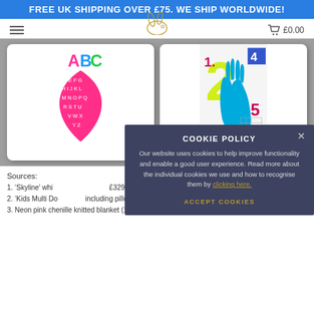FREE UK SHIPPING OVER £75. WE SHIP WORLDWIDE!
[Figure (logo): Bobby Rabbit logo with rabbit illustration and text 'BOBBY RABBIT FOR LITTLE X TREASURES']
[Figure (photo): Two framed children's educational prints leaning against a wall — left print shows ABC alphabet on pink heart background, right print shows numbers with a hand illustration]
Sources:
1. 'Skyline' whi... £329, Izziwotnot
2. 'Kids Multi Do... including pillow ca...
3. Neon pink chenille knitted blanket (130x170cm), £19.99, Zara
COOKIE POLICY

Our website uses cookies to help improve functionality and enable a good user experience. Read more about the individual cookies we use and how to recognise them by clicking here.

ACCEPT COOKIES